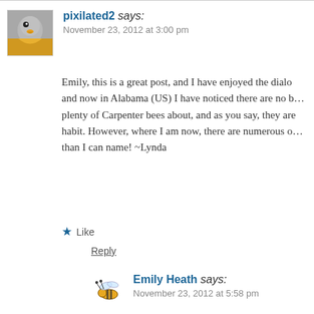pixilated2 says:
November 23, 2012 at 3:00 pm
Emily, this is a great post, and I have enjoyed the dialo… and now in Alabama (US) I have noticed there are no b… plenty of Carpenter bees about, and as you say, they ar… habit. However, where I am now, there are numerous o… than I can name! ~Lynda
★ Like
Reply
Emily Heath says:
November 23, 2012 at 5:58 pm
Ah, great that you have more bees around now… holiday in San Diego last year, so perhaps they… them.